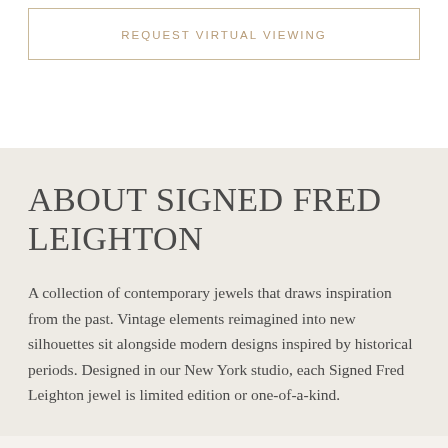REQUEST VIRTUAL VIEWING
ABOUT SIGNED FRED LEIGHTON
A collection of contemporary jewels that draws inspiration from the past. Vintage elements reimagined into new silhouettes sit alongside modern designs inspired by historical periods. Designed in our New York studio, each Signed Fred Leighton jewel is limited edition or one-of-a-kind.